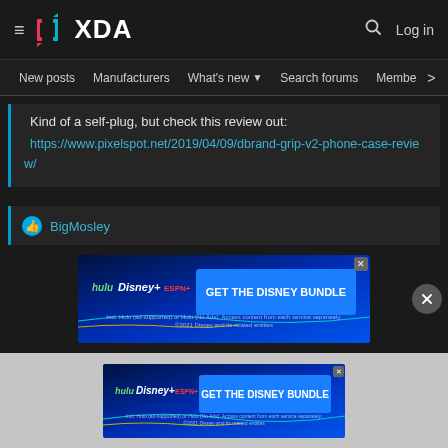XDA | Log in
New posts  Manufacturers  What's new  Search forums  Members >
Kind of a self-plug, but check this review out:
https://www.pixelspot.net/2019/04/09/dbrand-grip-v2-phone-case-review/
BigMosley
[Figure (screenshot): Disney Bundle advertisement banner: hulu, Disney+, ESPN+ logos with GET THE DISNEY BUNDLE button. Incl. Hulu (ad-supported) or Hulu (No Ads). Access content from each service separately. ©2021 Disney and its related entities]
[Figure (screenshot): Disney Bundle advertisement banner (second instance): hulu, Disney+, ESPN+ logos with GET THE DISNEY BUNDLE button. Incl. Hulu (ad-supported) or Hulu (No Ads). Access content from each service separately. ©2021 Disney and its related entities]